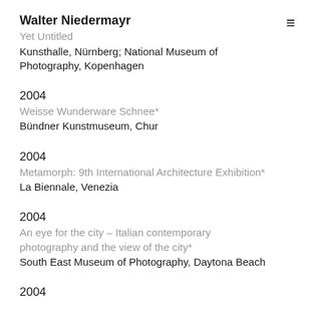Walter Niedermayr
Yet Untitled
Kunsthalle, Nürnberg; National Museum of Photography, Kopenhagen
2004
Weisse Wunderware Schnee*
Bündner Kunstmuseum, Chur
2004
Metamorph: 9th International Architecture Exhibition*
La Biennale, Venezia
2004
An eye for the city – Italian contemporary photography and the view of the city*
South East Museum of Photography, Daytona Beach
2004